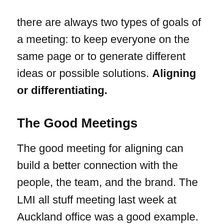there are always two types of goals of a meeting: to keep everyone on the same page or to generate different ideas or possible solutions. Aligning or differentiating.
The Good Meetings
The good meeting for aligning can build a better connection with the people, the team, and the brand. The LMI all stuff meeting last week at Auckland office was a good example. Six presenters shared their personality, passion and even tears with the tribe, and there were no better ways than their stories to show our value: